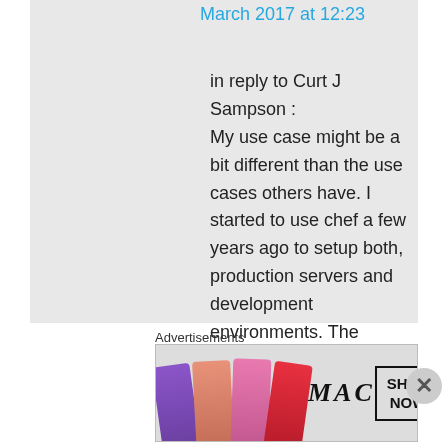March 2017 at 12:23
in reply to Curt J Sampson :
My use case might be a bit different than the use cases others have. I started to use chef a few years ago to setup both, production servers and development environments. The simple reason is that
Advertisements
[Figure (photo): MAC cosmetics advertisement showing lipsticks in purple, peach, pink and red colors alongside the MAC logo and a SHOP NOW button]